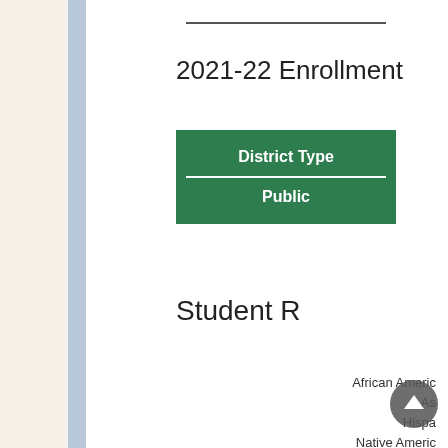2021-22 Enrollment
| District Type |
| --- |
| Public |
Student R
African American
Asian
Hispanic
Native American
White
Native Hawaiian, Pacific Islander
Multi-Race, Non-Hispanic